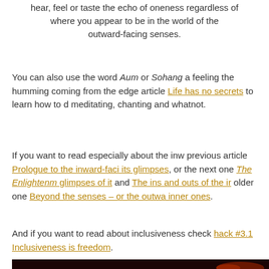hear, feel or taste the echo of oneness regardless of where you appear to be in the world of the outward-facing senses.
You can also use the word Aum or Sohang as feeling the humming coming from the edge article Life has no secrets to learn how to do meditating, chanting and whatnot.
If you want to read especially about the inw previous article Prologue to the inward-facing senses and its glimpses, or the next one The Enlightenment glimpses of it and The ins and outs of the ir older one Beyond the senses – or the outward inner ones.
And if you want to read about inclusiveness check hack #3.1 Inclusiveness is freedom.
[Figure (photo): Dark space/cosmos background with warm reddish-orange glow, bottom portion visible]